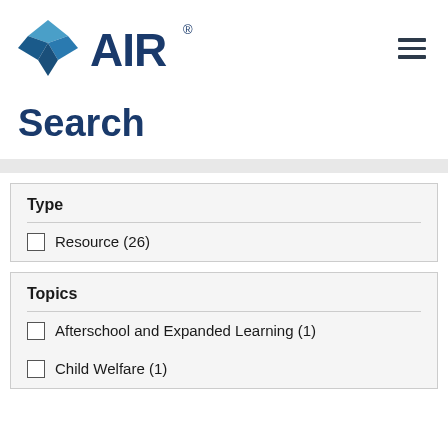[Figure (logo): AIR (American Institutes for Research) logo with diamond/chevron shape in blue tones and the text AIR with registered trademark symbol]
Search
Type
Resource (26)
Topics
Afterschool and Expanded Learning (1)
Child Welfare (1)